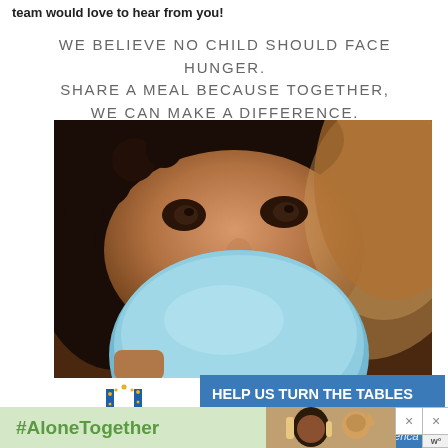team would love to hear from you!
WE BELIEVE NO CHILD SHOULD FACE HUNGER. SHARE A MEAL BECAUSE TOGETHER, WE CAN MAKE A DIFFERENCE.
[Figure (photo): Close-up photo of a child's face holding up a blue plate/bowl, covering the lower part of their face]
[Figure (logo): Unilever logo (stylized U in blue) with 'Unilever' text and 'projectSunlight' below]
HELP US TURN THE TABLES ON CHILD HUNGER
One out of every five children in America faces hunger
#AloneTogether